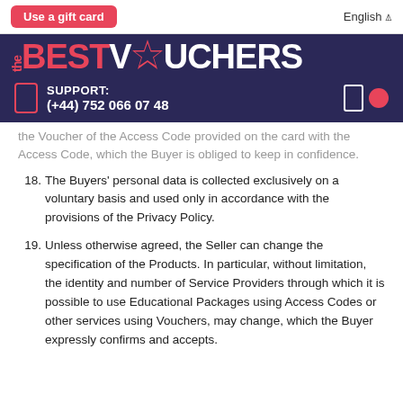Use a gift card | English
[Figure (logo): theBESTVOUCHERS logo with star replacing O, on dark navy background]
SUPPORT: (+44) 752 066 07 48
the Voucher of the Access Code provided on the card with the Access Code, which the Buyer is obliged to keep in confidence.
18. The Buyers' personal data is collected exclusively on a voluntary basis and used only in accordance with the provisions of the Privacy Policy.
19. Unless otherwise agreed, the Seller can change the specification of the Products. In particular, without limitation, the identity and number of Service Providers through which it is possible to use Educational Packages using Access Codes or other services using Vouchers, may change, which the Buyer expressly confirms and accepts.